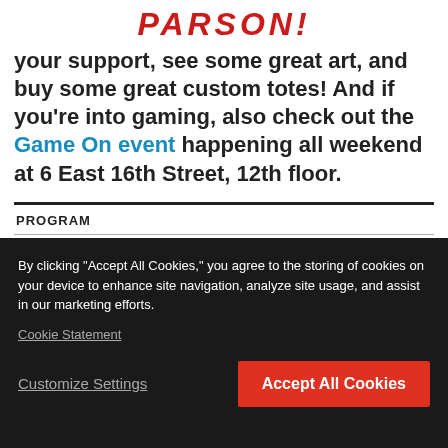PARSON!
your support, see some great art, and buy some great custom totes! And if you're into gaming, also check out the Game On event happening all weekend at 6 East 16th Street, 12th floor.
PROGRAM
Graphic Design | AAS
By clicking "Accept All Cookies," you agree to the storing of cookies on your device to enhance site navigation, analyze site usage, and assist in our marketing efforts.
Cookie Statement
Customize Settings
Accept All Cookies